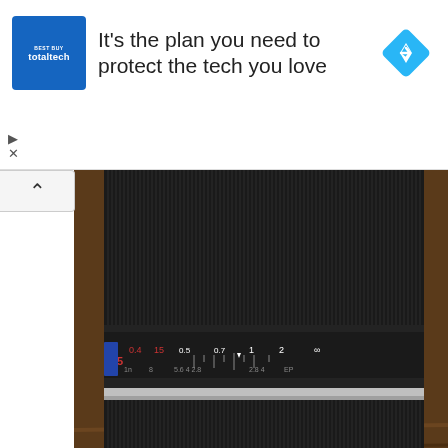[Figure (infographic): Advertisement banner: Best Buy Total Tech logo (blue square) with text 'It's the plan you need to protect the tech you love' and a blue diamond navigation icon on the right.]
[Figure (photo): Close-up photograph of a camera lens showing the focusing scale ring with distance markings from 0.3m to infinity. Watermark reads 'LeicaRumors.com'.]
The lens has a detailed focusing scale from 0.3m – 1m followed by 2m and then infinity:
[Figure (photo): Partial view of a second camera photo, showing a dark lens barrel with vertical ridges/lines visible at the bottom of the page.]